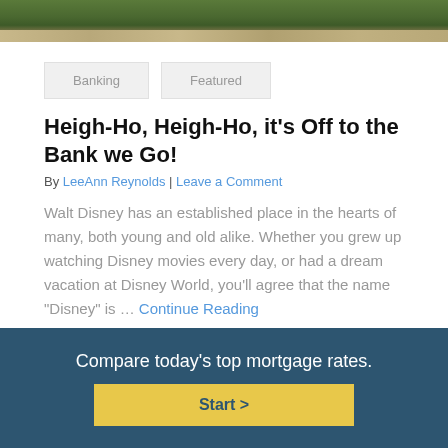[Figure (photo): Aerial or landscape photo showing green trees and stone/castle architecture at the top of the page]
Banking
Featured
Heigh-Ho, Heigh-Ho, it's Off to the Bank we Go!
By LeeAnn Reynolds | Leave a Comment
Walt Disney has an established place in the hearts of many, both young and old alike. Whether you grew up watching Disney movies every day, or had a dream vacation at Disney World, you'll agree that the name "Disney" is … Continue Reading
1 2 3 4 »
Compare today's top mortgage rates. Start >